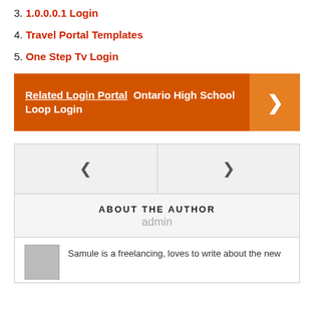3. 1.0.0.0.1 Login
4. Travel Portal Templates
5. One Step Tv Login
[Figure (infographic): Orange banner with text 'Related Login Portal Ontario High School Loop Login' and a right-arrow button on the right side]
[Figure (infographic): Navigation widget with two cells showing left arrow (<) and right arrow (>)]
ABOUT THE AUTHOR
admin
Samule is a freelancing, loves to write about the new